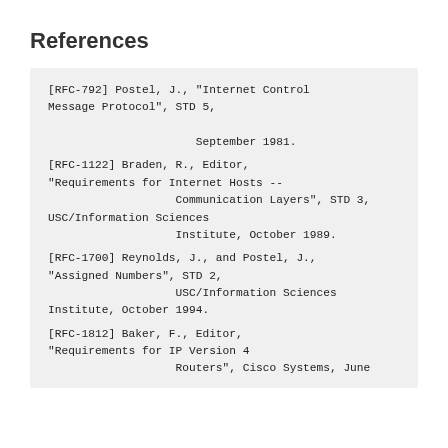References
[RFC-792]   Postel, J., "Internet Control Message Protocol", STD 5,

                      September 1981.
[RFC-1122]  Braden, R., Editor, "Requirements for Internet Hosts --
                  Communication Layers", STD 3, USC/Information Sciences
                  Institute, October 1989.
[RFC-1700]  Reynolds, J., and Postel, J., "Assigned Numbers", STD 2,
                  USC/Information Sciences
   Institute, October 1994.
[RFC-1812]  Baker, F., Editor, "Requirements for IP Version 4
                  Routers", Cisco Systems, June